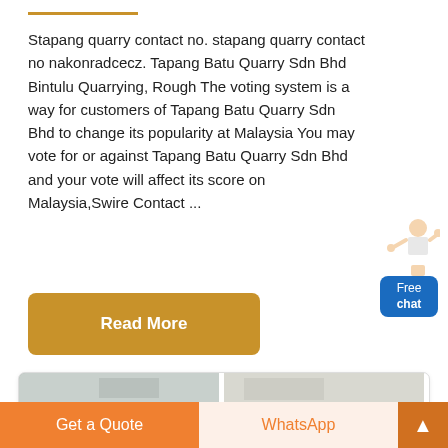Stapang quarry contact no. stapang quarry contact no nakonradcecz. Tapang Batu Quarry Sdn Bhd Bintulu Quarrying, Rough The voting system is a way for customers of Tapang Batu Quarry Sdn Bhd to change its popularity at Malaysia You may vote for or against Tapang Batu Quarry Sdn Bhd and your vote will affect its score on Malaysia,Swire Contact ...
[Figure (illustration): Free chat widget with a customer service representative figure and a blue button showing 'Free chat']
Read More
[Figure (photo): Two quarry site photographs showing heavy machinery, conveyor belts, and dusty mining operations]
Get a Quote   WhatsApp   ▲